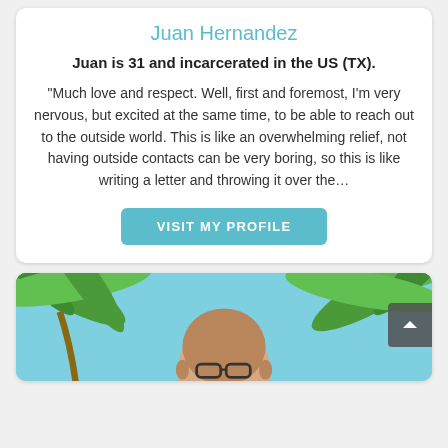Juan Hernandez
Juan is 31 and incarcerated in the US (TX).
"Much love and respect. Well, first and foremost, I'm very nervous, but excited at the same time, to be able to reach out to the outside world. This is like an overwhelming relief, not having outside contacts can be very boring, so this is like writing a letter and throwing it over the...
VISIT MY PROFILE
[Figure (photo): Partial view of a bald man wearing glasses, photographed against a tropical background with palm trees and a blue sky. The image is cropped at the bottom of the page.]